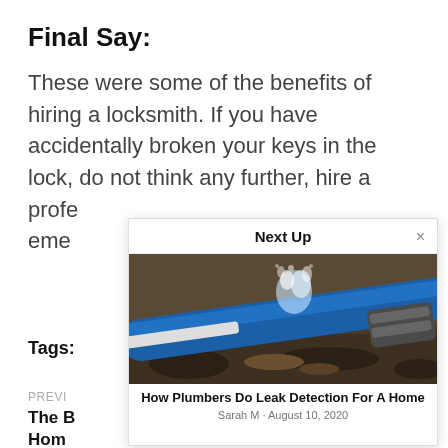Final Say:
These were some of the benefits of hiring a locksmith. If you have accidentally broken your keys in the lock, do not think any further, hire a profe[ssional and get] eme[rgency help.]
Tags:
PREV[IOUS]
The B[est Smart] Hom[e...]
NEXT
How[...]
[Figure (screenshot): A popup overlay panel titled 'Next Up' with an X close button, showing a photo of a leaking blue water pipe with mud, and a card title 'How Plumbers Do Leak Detection For A Home' by Sarah M, August 10, 2020]